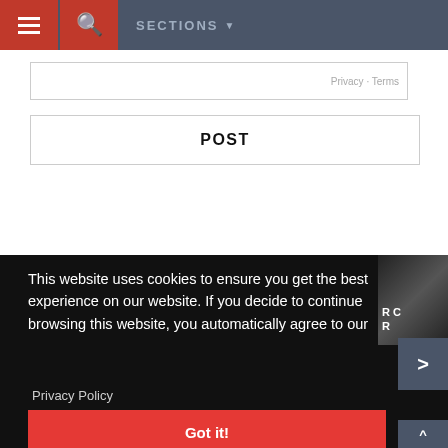[Figure (screenshot): Navigation bar with hamburger menu icon (red background), search icon (red background), and SECTIONS dropdown label on dark gray background]
[Figure (screenshot): Input box showing Privacy and Terms text in gray]
POST
This website uses cookies to ensure you get the best experience on our website. If you decide to continue browsing this website, you automatically agree to our
Privacy Policy
Got it!
[Figure (photo): Partial image of a scene on the right side, with text R C and R visible]
>
^